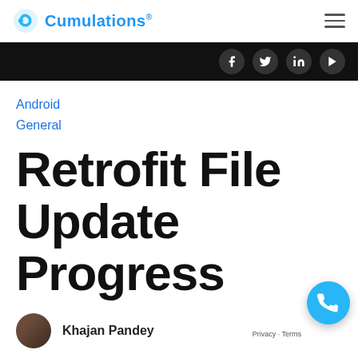Cumulations® — navigation header with hamburger menu
[Figure (infographic): Dark social bar with Facebook, Twitter, LinkedIn, and YouTube icons]
Android
General
Retrofit File Update Progress
Khajan Pandey